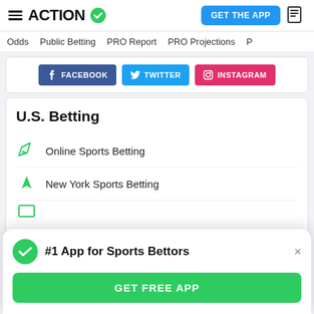ACTION
GET THE APP
Odds | Public Betting | PRO Report | PRO Projections
[Figure (screenshot): Social media buttons: FACEBOOK, TWITTER, INSTAGRAM]
U.S. Betting
Online Sports Betting
New York Sports Betting
#1 App for Sports Bettors
GET FREE APP